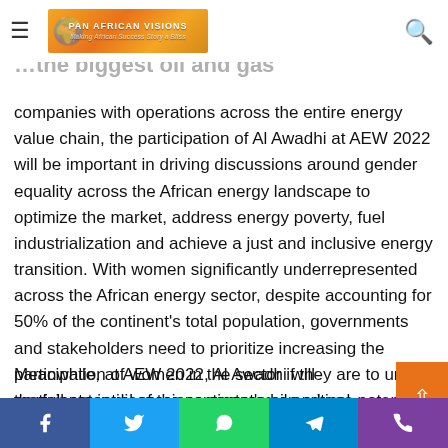Pan African Visions — Making African Success Story a Bliss
…the biggest oil and gas companies with operations across the entire energy value chain, the participation of Al Awadhi at AEW 2022 will be important in driving discussions around gender equality across the African energy landscape to optimize the market, address energy poverty, fuel industrialization and achieve a just and inclusive energy transition. With women significantly underrepresented across the African energy sector, despite accounting for 50% of the continent's total population, governments and stakeholders need to prioritize increasing the participation of women in the sector if they are to unlock the full potential of the continent's oil and gas potential.
Meanwhile, at AEW 2022, Al Awadhi will participate in discussions centered on critical issues including energy and…